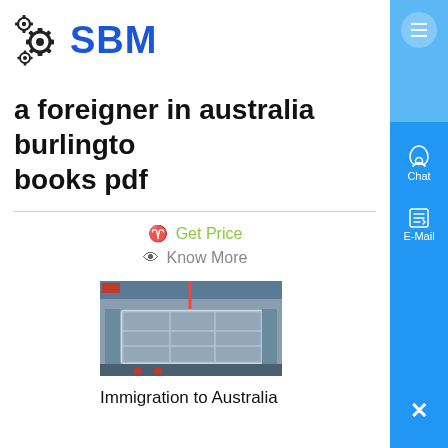[Figure (logo): SBM logo with gears icon and blue SBM text]
a foreigner in australia burlington books pdf
Get Price
Know More
[Figure (photo): Industrial manufacturing facility showing large metal equipment/machinery on factory floor]
Immigration to Australia